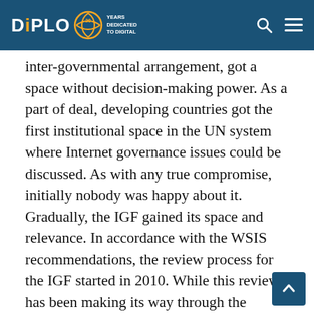DiPLO — 20 YEARS DEDICATED TO DIGITAL
inter-governmental arrangement, got a space without decision-making power. As a part of deal, developing countries got the first institutional space in the UN system where Internet governance issues could be discussed. As with any true compromise, initially nobody was happy about it. Gradually, the IGF gained its space and relevance. In accordance with the WSIS recommendations, the review process for the IGF started in 2010. While this review has been making its way through the complex UN system, the main underlying question is if, and how, the Tunis Compromise should be changed.